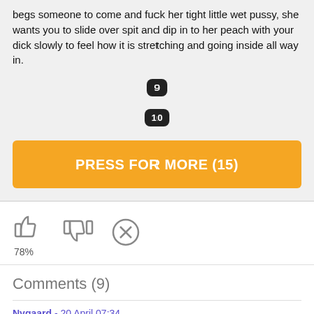begs someone to come and fuck her tight little wet pussy, she wants you to slide over spit and dip in to her peach with your dick slowly to feel how it is stretching and going inside all way in.
[Figure (other): Dark rounded badge with number 9]
[Figure (other): Dark rounded badge with number 10]
PRESS FOR MORE (15)
[Figure (infographic): Thumbs up icon, thumbs down icon, and X icon with 78% rating label]
Comments (9)
Nygaard - 20 April 07:34
she could ride me inward the morningtime ,afternoon or nighttime